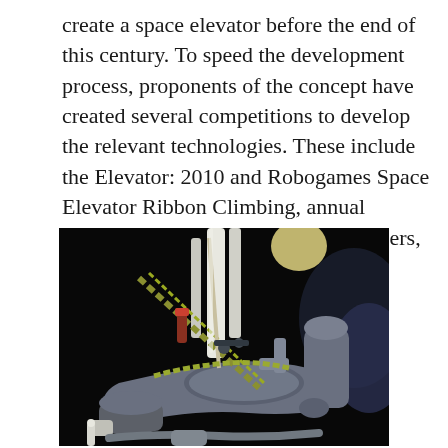create a space elevator before the end of this century. To speed the development process, proponents of the concept have created several competitions to develop the relevant technologies. These include the Elevator: 2010 and Robogames Space Elevator Ribbon Climbing, annual competitions seeking to design climbers, tethers and power-beaming systems.
[Figure (photo): Close-up photograph of a space elevator climber prototype device, showing mechanical components including rollers, cables, chains, and structural elements against a dark background. The device appears to be a physical model or prototype with gray metallic parts and yellow/green cable-like elements.]